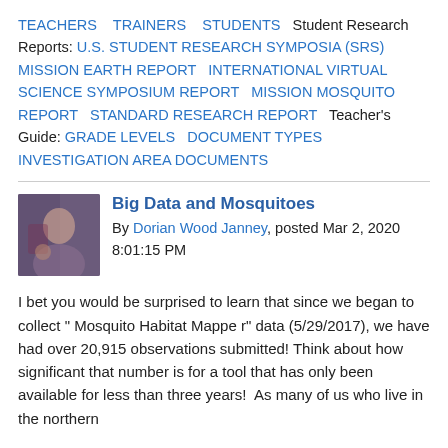TEACHERS   TRAINERS   STUDENTS   Student Research Reports: U.S. STUDENT RESEARCH SYMPOSIA (SRS)   MISSION EARTH REPORT   INTERNATIONAL VIRTUAL SCIENCE SYMPOSIUM REPORT   MISSION MOSQUITO REPORT   STANDARD RESEARCH REPORT   Teacher's Guide: GRADE LEVELS   DOCUMENT TYPES   INVESTIGATION AREA DOCUMENTS
Big Data and Mosquitoes
By Dorian Wood Janney, posted Mar 2, 2020 8:01:15 PM
I bet you would be surprised to learn that since we began to collect " Mosquito Habitat Mappe r" data (5/29/2017), we have had over 20,915 observations submitted! Think about how significant that number is for a tool that has only been available for less than three years!  As many of us who live in the northern